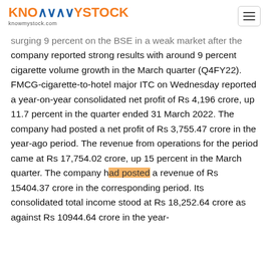KNOWMYSTOCK knowmystock.com
surging 9 percent on the BSE in a weak market after the company reported strong results with around 9 percent cigarette volume growth in the March quarter (Q4FY22). FMCG-cigarette-to-hotel major ITC on Wednesday reported a year-on-year consolidated net profit of Rs 4,196 crore, up 11.7 percent in the quarter ended 31 March 2022. The company had posted a net profit of Rs 3,755.47 crore in the year-ago period. The revenue from operations for the period came at Rs 17,754.02 crore, up 15 percent in the March quarter. The company had posted a revenue of Rs 15404.37 crore in the corresponding period. Its consolidated total income stood at Rs 18,252.64 crore as against Rs 10944.64 crore in the year-